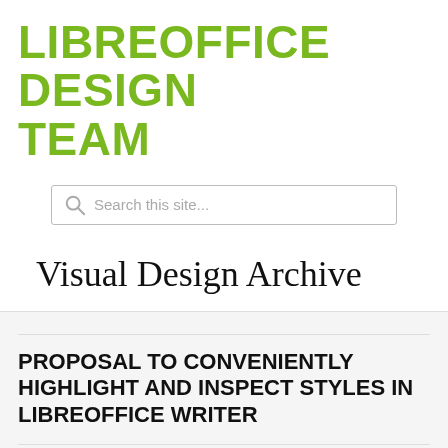LIBREOFFICE DESIGN TEAM
[Figure (other): Search bar with magnifying glass icon and placeholder text 'Search this site...']
Visual Design Archive
PROPOSAL TO CONVENIENTLY HIGHLIGHT AND INSPECT STYLES IN LIBREOFFICE WRITER
By Heiko Tietze On 5 November 2019 In GSoC, User Interface, Visual